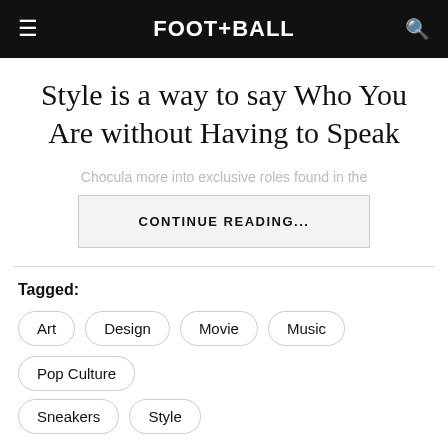FOOT+BALL
Style is a way to say Who You Are without Having to Speak
Chocula more into exclusive roles found in the
CONTINUE READING...
Tagged:
Art
Design
Movie
Music
Pop Culture
Sneakers
Style